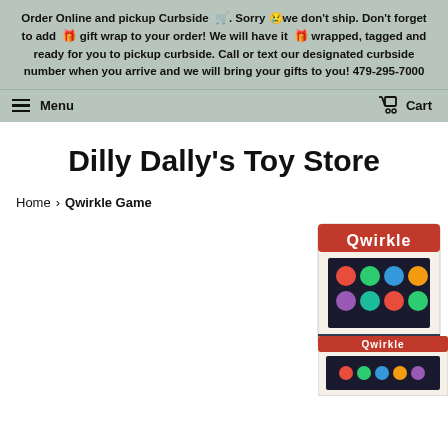Order Online and pickup Curbside. Sorry we don't ship. Don't forget to add gift wrap to your order! We will have it wrapped, tagged and ready for you to pickup curbside. Call or text our designated curbside number when you arrive and we will bring your gifts to you! 479-295-7000
Menu  Cart
Dilly Dally's Toy Store
Home › Qwirkle Game
[Figure (photo): Qwirkle board game box image, top right]
[Figure (photo): Qwirkle board game box image, bottom right, partial]